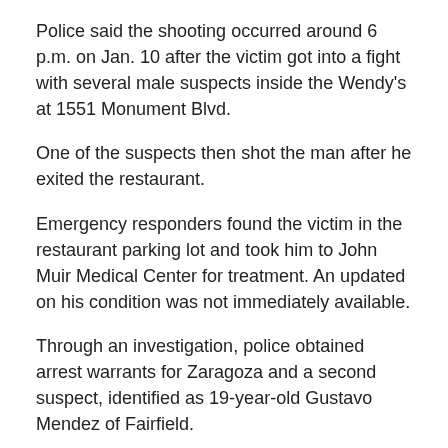Police said the shooting occurred around 6 p.m. on Jan. 10 after the victim got into a fight with several male suspects inside the Wendy's at 1551 Monument Blvd.
One of the suspects then shot the man after he exited the restaurant.
Emergency responders found the victim in the restaurant parking lot and took him to John Muir Medical Center for treatment. An updated on his condition was not immediately available.
Through an investigation, police obtained arrest warrants for Zaragoza and a second suspect, identified as 19-year-old Gustavo Mendez of Fairfield.
Mendez is described as a Hispanic man who is 5 feet 6 inches tall and weighs 150 pounds with black hair and brown eyes, according to police. He is considered armed and dangerous.